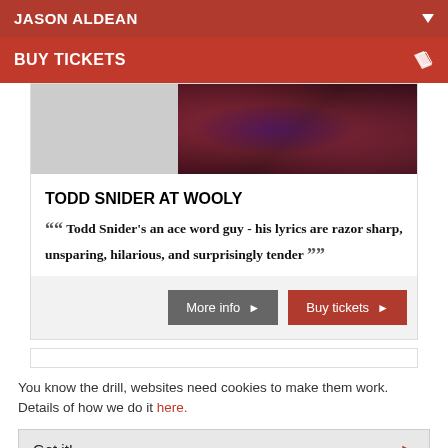JASON ALDEAN
BUY TICKETS
[Figure (photo): Concert photo of performer on stage with purple and red lighting, guitar visible]
TODD SNIDER AT WOOLY
“Todd Snider's an ace word guy - his lyrics are razor sharp, unsparing, hilarious, and surprisingly tender”
More info ►
Buy tickets ►
You know the drill, websites need cookies to make them work. Details of how we do it here.
Got it!